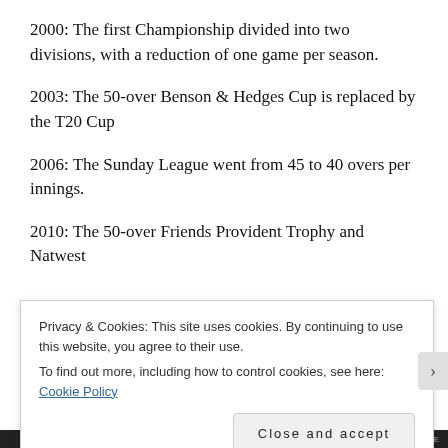2000: The first Championship divided into two divisions, with a reduction of one game per season.
2003: The 50-over Benson & Hedges Cup is replaced by the T20 Cup
2006: The Sunday League went from 45 to 40 overs per innings.
2010: The 50-over Friends Provident Trophy and Natwest [truncated]
Privacy & Cookies: This site uses cookies. By continuing to use this website, you agree to their use.
To find out more, including how to control cookies, see here: Cookie Policy
Close and accept